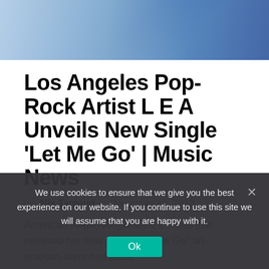[Figure (photo): Partial photo of pop-rock artist L E A performing or posing, blue-toned background]
Los Angeles Pop-Rock Artist L E A Unveils New Single 'Let Me Go' | Music News
by Alix Tarnaud · December 15, 2020
American singer/songwriter L E A has just released her new single "Let Me Go" an emotion-drenched piece
We use cookies to ensure that we give you the best experience on our website. If you continue to use this site we will assume that you are happy with it.